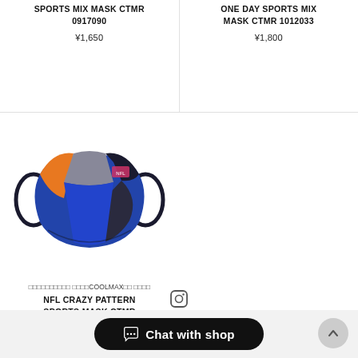SPORTS MIX MASK CTMR 0917090
¥1,650
ONE DAY SPORTS MIX MASK CTMR 1012033
¥1,800
[Figure (photo): A multi-colored patchwork sports mask with blue, orange, black, and gray panels and navy ear loops.]
□□□□□□□□□□ □□□□COOLMAX□□ □□□□
NFL CRAZY PATTERN SPORTS MASK CTMR 1113022
¥3,800
Chat with shop